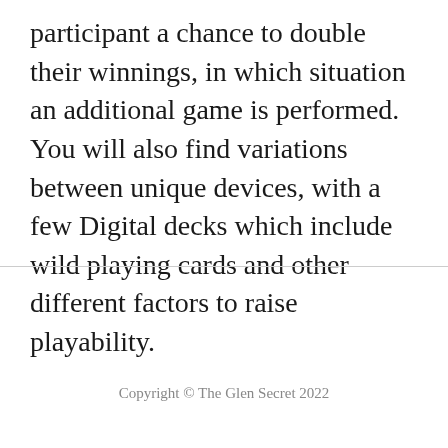participant a chance to double their winnings, in which situation an additional game is performed. You will also find variations between unique devices, with a few Digital decks which include wild playing cards and other different factors to raise playability.
Copyright © The Glen Secret 2022